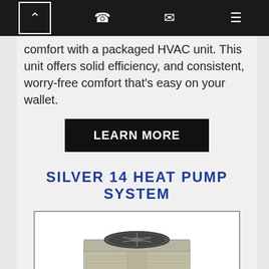Navigation bar with icons: up arrow, phone, email, menu
comfort with a packaged HVAC unit. This unit offers solid efficiency, and consistent, worry-free comfort that's easy on your wallet.
LEARN MORE
SILVER 14 HEAT PUMP SYSTEM
[Figure (photo): Silver 14 Heat Pump System HVAC outdoor condensing unit, beige/tan colored packaged unit with top fan grille and louvered side panels, American Standard brand badge visible]